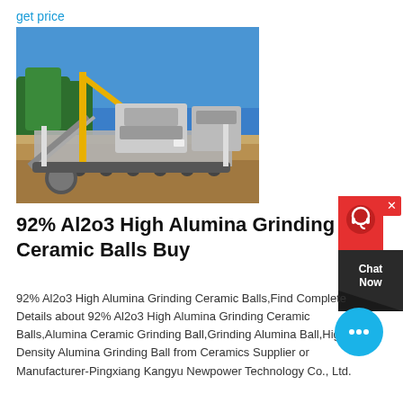get price
[Figure (photo): Outdoor industrial mining/crushing plant with yellow crane, conveyor belts, and heavy machinery on a sandy site with tropical trees in background under blue sky.]
92% Al2o3 High Alumina Grinding Ceramic Balls Buy
[Figure (other): Red and dark chat support widget on right side with headset icon and 'Chat Now' text, plus a blue circular chat bubble with ellipsis icon.]
92% Al2o3 High Alumina Grinding Ceramic Balls,Find Complete Details about 92% Al2o3 High Alumina Grinding Ceramic Balls,Alumina Ceramic Grinding Ball,Grinding Alumina Ball,High Density Alumina Grinding Ball from Ceramics Supplier or Manufacturer-Pingxiang Kangyu Newpower Technology Co., Ltd.